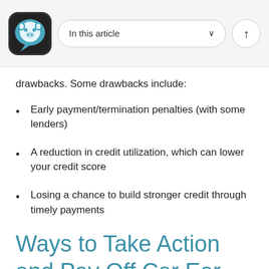In this article
drawbacks. Some drawbacks include:
Early payment/termination penalties (with some lenders)
A reduction in credit utilization, which can lower your credit score
Losing a chance to build stronger credit through timely payments
Ways to Take Action and Pay Off...